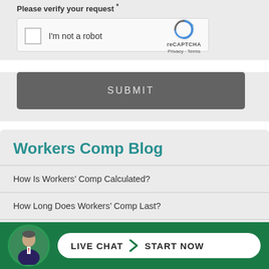Please verify your request *
[Figure (screenshot): reCAPTCHA widget with checkbox labeled 'I'm not a robot' and reCAPTCHA logo with Privacy and Terms links]
SUBMIT
Workers Comp Blog
How Is Workers’ Comp Calculated?
How Long Does Workers’ Comp Last?
How To Get Workers’ Comp: Everything You Need To Know
[Figure (infographic): Live chat bar with avatar photo and pill-shaped button reading 'LIVE CHAT > START NOW' on green background]